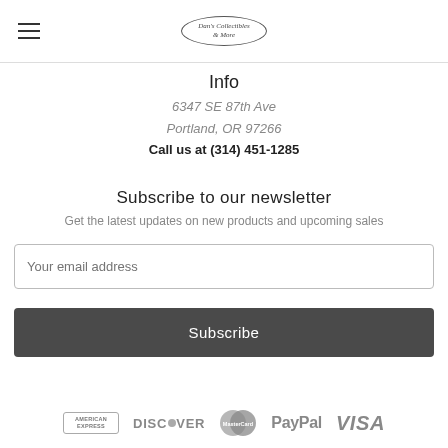[Figure (logo): Dan's Collectibles & More logo in an oval border, with hamburger menu icon on the left]
Info
6347 SE 87th Ave
Portland, OR 97266
Call us at (314) 451-1285
Subscribe to our newsletter
Get the latest updates on new products and upcoming sales
Your email address
Subscribe
[Figure (logo): Payment method logos: American Express, Discover, MasterCard, PayPal, VISA]